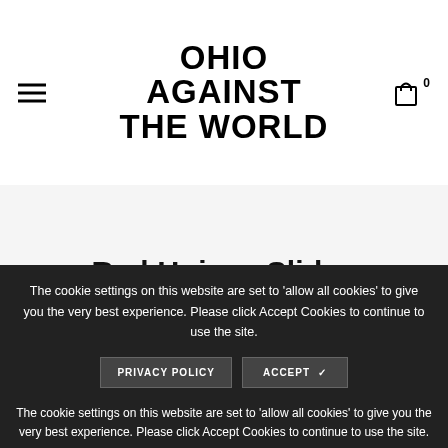OHIO AGAINST THE WORLD
Red Unisex Slides
All / Red Unisex Slides
The cookie settings on this website are set to 'allow all cookies' to give you the very best experience. Please click Accept Cookies to continue to use the site.
PRIVACY POLICY   ACCEPT ✓